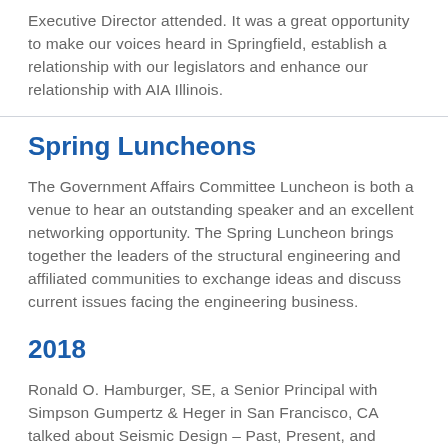Executive Director attended. It was a great opportunity to make our voices heard in Springfield, establish a relationship with our legislators and enhance our relationship with AIA Illinois.
Spring Luncheons
The Government Affairs Committee Luncheon is both a venue to hear an outstanding speaker and an excellent networking opportunity. The Spring Luncheon brings together the leaders of the structural engineering and affiliated communities to exchange ideas and discuss current issues facing the engineering business.
2018
Ronald O. Hamburger, SE, a Senior Principal with Simpson Gumpertz & Heger in San Francisco, CA talked about Seismic Design – Past, Present, and Future. Design practices are evolving to performance-based procedures, in which design performance is specified and the engineer is left to demonstrate that acceptable performance can be